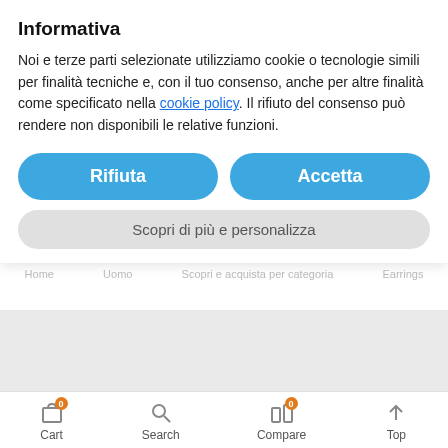Informativa
Noi e terze parti selezionate utilizziamo cookie o tecnologie simili per finalità tecniche e, con il tuo consenso, anche per altre finalità come specificato nella cookie policy. Il rifiuto del consenso può rendere non disponibili le relative funzioni.
[Figure (screenshot): Cookie consent dialog with Rifiuta and Accetta buttons, and a Scopri di più e personalizza link, overlaying an e-commerce earrings page with bottom navigation bar (Cart, Search, Compare, Top)]